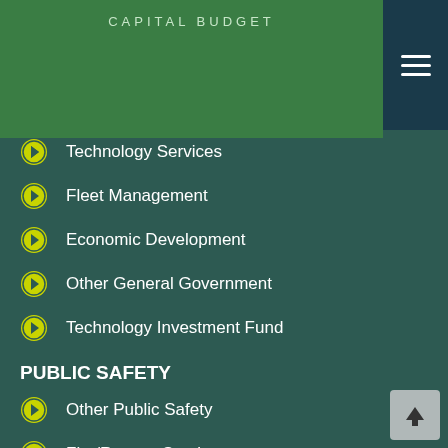CAPITAL BUDGET
Technology Services
Fleet Management
Economic Development
Other General Government
Technology Investment Fund
PUBLIC SAFETY
Other Public Safety
Fire/Rescue Service
Police
Correction and Rehabilitation
HEALTH AND HUMAN SERVICES